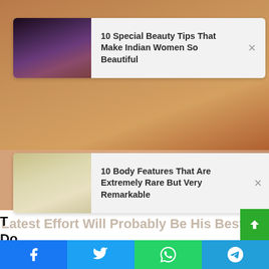[Figure (screenshot): Background image of a person with dark hair, brownish warm tones]
10 Special Beauty Tips That Make Indian Women So Beautiful
[Figure (photo): Thumbnail of a dark-haired woman]
10 Body Features That Are Extremely Rare But Very Remarkable
[Figure (photo): Thumbnail of a blonde woman]
Latest Effort Will Probably Be His Best To
T
Do
BRAINBERRIES
[Figure (infographic): Social share buttons: Facebook, Twitter, WhatsApp, Telegram]